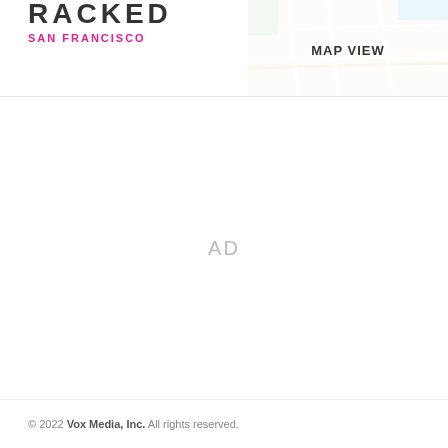RACKED SAN FRANCISCO
[Figure (map): MAP VIEW thumbnail showing a partial street map with 'MAP VIEW' label overlay]
AD
© 2022 Vox Media, Inc. All rights reserved.